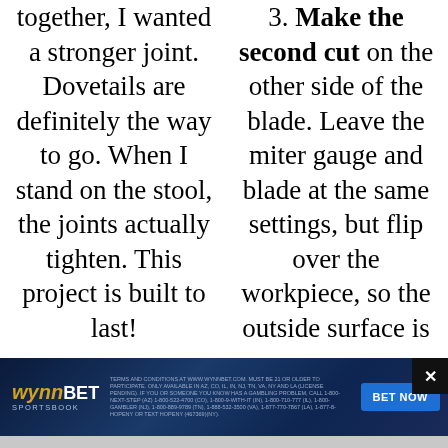together, I wanted a stronger joint. Dovetails are definitely the way to go. When I stand on the stool, the joints actually tighten. This project is built to last!
3. Make the second cut on the other side of the blade. Leave the miter gauge and blade at the same settings, but flip over the workpiece, so the outside surface is
[Figure (infographic): WynnBET Sportsbook advertisement banner with logo, terms and conditions text, and BET NOW button]